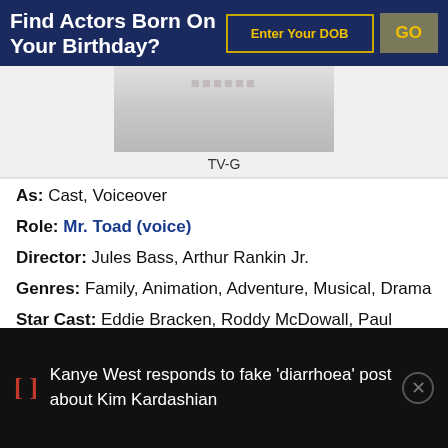Find Actors Born On Your Birthday?
[Figure (screenshot): Movie thumbnail placeholder image showing a faded/washed out title area, grayscale gradient rectangle]
TV-G
As: Cast, Voiceover
Role: Mr. Toad (voice)
Director: Jules Bass, Arthur Rankin Jr.
Genres: Family, Animation, Adventure, Musical, Drama
Star Cast: Eddie Bracken, Roddy McDowall, Paul Frees, José Ferrer,
Kanye West responds to fake 'diarrhoea' post about Kim Kardashian